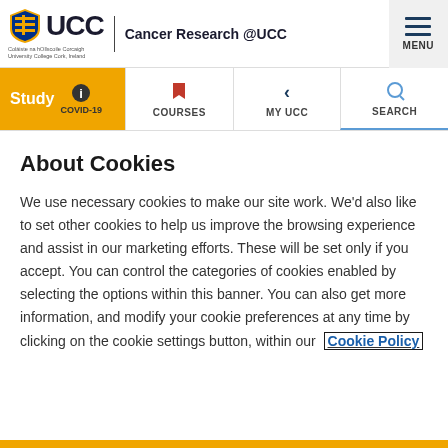UCC | Cancer Research @UCC
[Figure (logo): UCC shield logo with text 'UCC' and subtitle 'Coláiste na hOllscoile Corcaigh / University College Cork, Ireland']
[Figure (infographic): Navigation bar with COVID-19, COURSES, MY UCC, SEARCH items]
About Cookies
We use necessary cookies to make our site work. We'd also like to set other cookies to help us improve the browsing experience and assist in our marketing efforts. These will be set only if you accept. You can control the categories of cookies enabled by selecting the options within this banner. You can also get more information, and modify your cookie preferences at any time by clicking on the cookie settings button, within our Cookie Policy